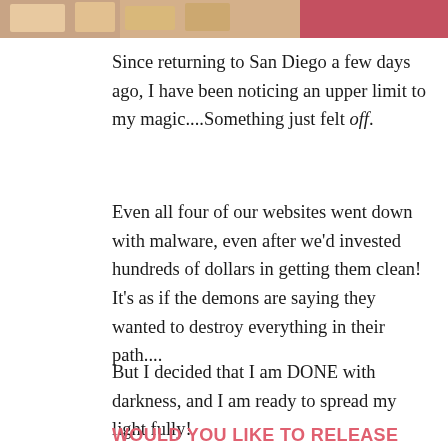[Figure (photo): Partial image visible at the top of the page showing colorful photos or cards on a surface, with pink/red color tones on the right]
Since returning to San Diego a few days ago, I have been noticing an upper limit to my magic....Something just felt off.
Even all four of our websites went down with malware, even after we'd invested hundreds of dollars in getting them clean! It's as if the demons are saying they wanted to destroy everything in their path....
But I decided that I am DONE with darkness, and I am ready to spread my light fully!
WOULD YOU LIKE TO RELEASE THE DARKNESS TOO, TO TAP INTO YOUR PEAK PRIESTESS